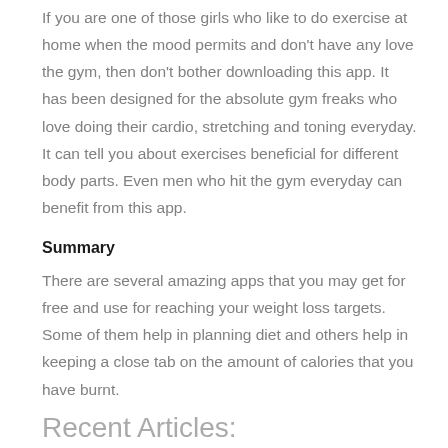If you are one of those girls who like to do exercise at home when the mood permits and don't have any love the gym, then don't bother downloading this app. It has been designed for the absolute gym freaks who love doing their cardio, stretching and toning everyday. It can tell you about exercises beneficial for different body parts. Even men who hit the gym everyday can benefit from this app.
Summary
There are several amazing apps that you may get for free and use for reaching your weight loss targets. Some of them help in planning diet and others help in keeping a close tab on the amount of calories that you have burnt.
Recent Articles: